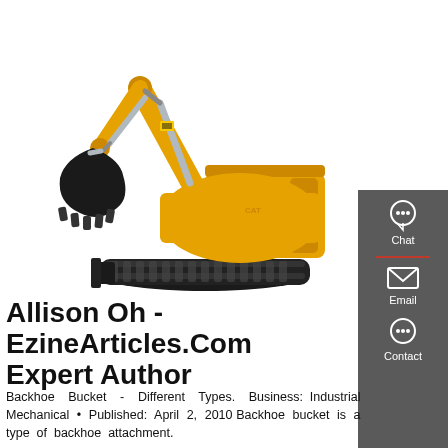[Figure (photo): Yellow and black mini excavator/backhoe on white background, with articulated arm and bucket raised]
Allison Oh - EzineArticles.Com Expert Author
Backhoe Bucket - Different Types. Business: Industrial Mechanical • Published: April 2, 2010 Backhoe bucket is a type of backhoe attachment.